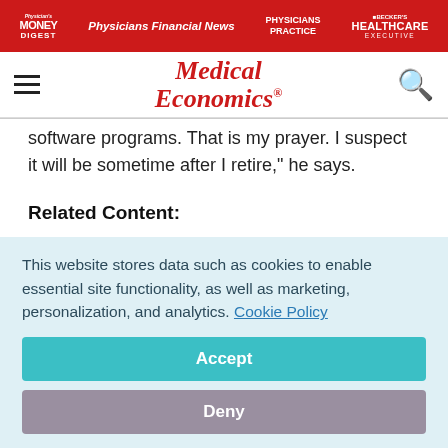Physician's Money Digest | Physicians Financial News | Physicians Practice | Becker's Healthcare Executive
[Figure (logo): Medical Economics logo in red italic text]
software programs. That is my prayer. I suspect it will be sometime after I retire," he says.
Related Content:
This website stores data such as cookies to enable essential site functionality, as well as marketing, personalization, and analytics. Cookie Policy
Accept
Deny